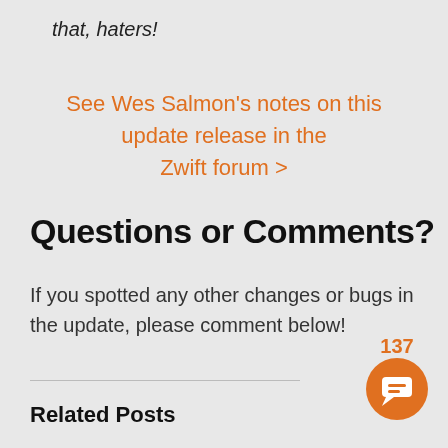that, haters!
See Wes Salmon's notes on this update release in the Zwift forum >
Questions or Comments?
If you spotted any other changes or bugs in the update, please comment below!
Related Posts
[Figure (illustration): Orange circular chat bubble icon with speech bubble symbol and count badge showing 137]